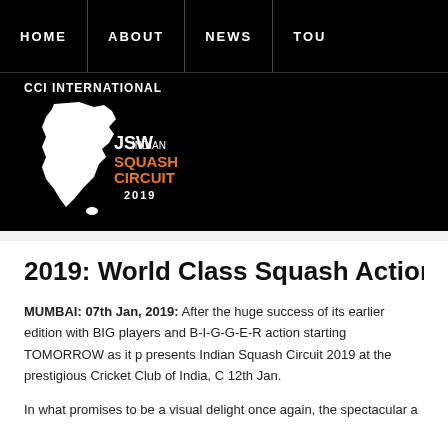HOME | ABOUT | NEWS | TOU
[Figure (logo): CCI International JSW Indian Squash Circuit 2019 logo with India map silhouette in white on black background]
2019: World Class Squash Action b
MUMBAI: 07th Jan, 2019: After the huge success of its earlier edition with BIG players and B-I-G-G-E-R action starting TOMORROW as it presents Indian Squash Circuit 2019 at the prestigious Cricket Club of India, 12th Jan.
In what promises to be a visual delight once again, the spectacular a